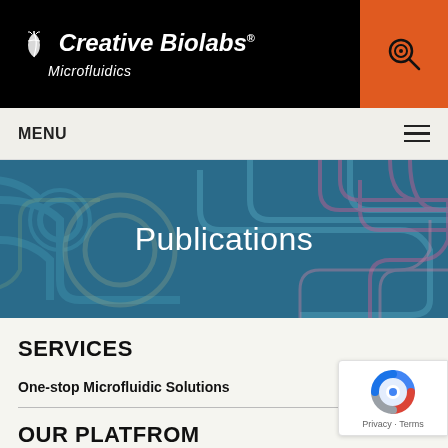[Figure (logo): Creative Biolabs Microfluidics logo in white italic text on black background with leaf/plant graphic]
[Figure (illustration): Orange search icon button in the top right corner of header]
MENU ≡
[Figure (photo): Teal/blue banner with microfluidic chip circuit-like pattern in background, with 'Publications' text overlaid in white]
Publications
SERVICES
One-stop Microfluidic Solutions
OUR PLATFROM